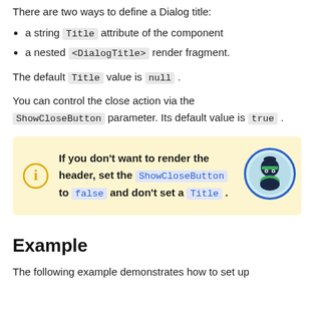There are two ways to define a Dialog title:
a string Title attribute of the component
a nested <DialogTitle> render fragment.
The default Title value is null.
You can control the close action via the ShowCloseButton parameter. Its default value is true.
If you don't want to render the header, set the ShowCloseButton to false and don't set a Title.
Example
The following example demonstrates how to set up